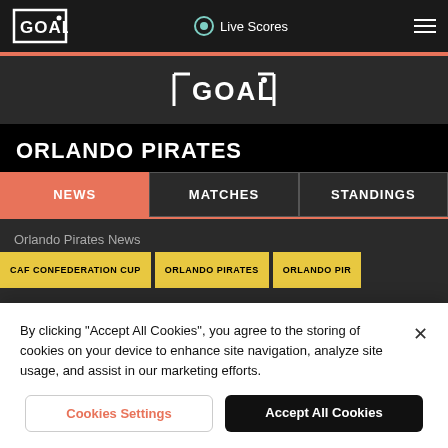GOAL | Live Scores
[Figure (logo): GOAL logo centered on dark background]
ORLANDO PIRATES
NEWS | MATCHES | STANDINGS
Orlando Pirates News
CAF CONFEDERATION CUP | ORLANDO PIRATES | ORLANDO PIR
By clicking "Accept All Cookies", you agree to the storing of cookies on your device to enhance site navigation, analyze site usage, and assist in our marketing efforts.
Cookies Settings | Accept All Cookies